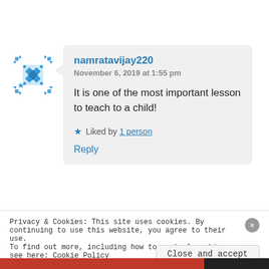[Figure (illustration): Blue snowflake/geometric avatar icon for user namratavijay220]
namratavijay220
November 6, 2019 at 1:55 pm

It is one of the most important lesson to teach to a child!

★ Liked by 1 person

Reply
Privacy & Cookies: This site uses cookies. By continuing to use this website, you agree to their use.
To find out more, including how to control cookies, see here: Cookie Policy

Close and accept